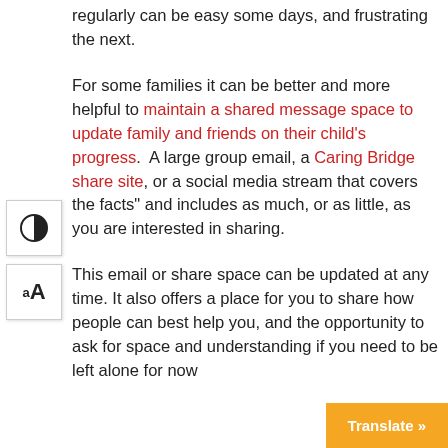regularly can be easy some days, and frustrating the next.
For some families it can be better and more helpful to maintain a shared message space to update family and friends on their child’s progress.  A large group email, a Caring Bridge share site, or a social media stream that covers the facts” and includes as much, or as little, as you are interested in sharing.
This email or share space can be updated at any time. It also offers a place for you to share how people can best help you, and the opportunity to ask for space and understanding if you need to be left alone for now